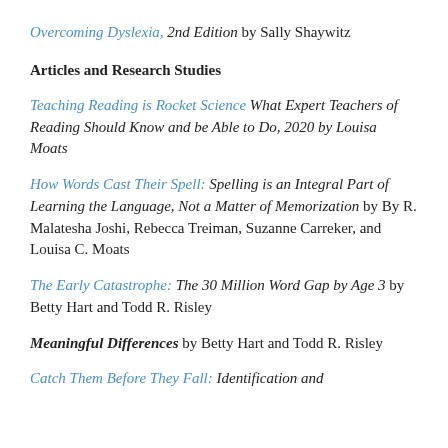Overcoming Dyslexia, 2nd Edition by Sally Shaywitz
Articles and Research Studies
Teaching Reading is Rocket Science What Expert Teachers of Reading Should Know and be Able to Do, 2020 by Louisa Moats
How Words Cast Their Spell: Spelling is an Integral Part of Learning the Language, Not a Matter of Memorization by By R. Malatesha Joshi, Rebecca Treiman, Suzanne Carreker, and Louisa C. Moats
The Early Catastrophe: The 30 Million Word Gap by Age 3 by Betty Hart and Todd R. Risley
Meaningful Differences by Betty Hart and Todd R. Risley
Catch Them Before They Fall: Identification and